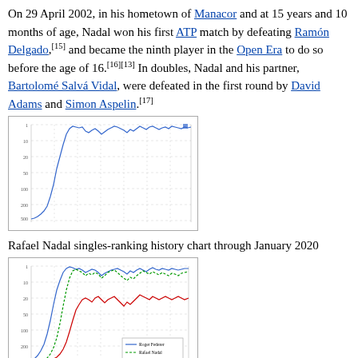On 29 April 2002, in his hometown of Manacor and at 15 years and 10 months of age, Nadal won his first ATP match by defeating Ramón Delgado,[15] and became the ninth player in the Open Era to do so before the age of 16.[16][13] In doubles, Nadal and his partner, Bartolomé Salvá Vidal, were defeated in the first round by David Adams and Simon Aspelin.[17]
[Figure (continuous-plot): Rafael Nadal singles-ranking history chart through January 2020. Line chart showing ATP singles ranking over time with ranking inverted (higher position = lower number). Blue line shows sharp rise from very low ranking to top positions.]
Rafael Nadal singles-ranking history chart through January 2020
[Figure (continuous-plot): Singles ranking composite history chart through January 2020 for Roger Federer (blue solid line), Rafael Nadal (green dotted line), and Novak Djokovic (red line). Legend in bottom right corner.]
Singles ranking composite history chart through January 2020 (Roger Federer, Rafael Nadal, Novak Djokovic)
In 2003, Nadal won two Challenger titles and finished the year ranked as the world No. 49. He won the ATP Newcomer of the